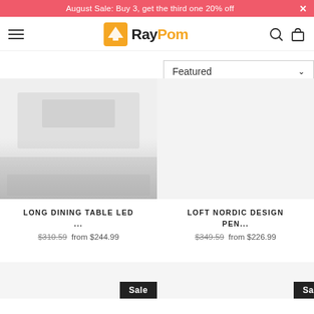August Sale: Buy 3, get the third one 20% off
[Figure (logo): RayPom logo with orange lamp icon and black/orange text]
Featured
[Figure (photo): Product image for Long Dining Table LED - faded interior/furniture photo]
LONG DINING TABLE LED ...
$310.59 from $244.99
[Figure (photo): Product image for Loft Nordic Design Pen... - light gray placeholder]
LOFT NORDIC DESIGN PEN...
$349.59 from $226.99